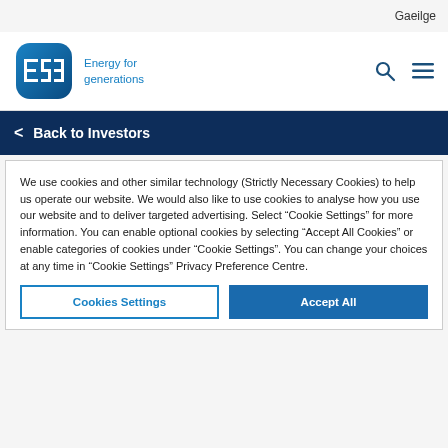Gaeilge
[Figure (logo): ESB Energy for generations logo — blue rounded square with ESB text and tagline]
Back to Investors
We use cookies and other similar technology (Strictly Necessary Cookies) to help us operate our website. We would also like to use cookies to analyse how you use our website and to deliver targeted advertising. Select “Cookie Settings” for more information. You can enable optional cookies by selecting “Accept All Cookies” or enable categories of cookies under “Cookie Settings”. You can change your choices at any time in “Cookie Settings” Privacy Preference Centre.
Cookies Settings
Accept All